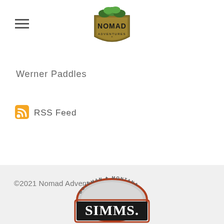[Figure (logo): Nomad Adventures logo — shield shape with foliage on top, 'NOMAD' in large letters, 'ADVENTURES' below]
Werner Paddles
RSS Feed
©2021 Nomad Adventures
[Figure (logo): Simms Fishing Products logo — Bozeman Montana arched text above black rectangle with SIMMS. in white text, rust/brown border]